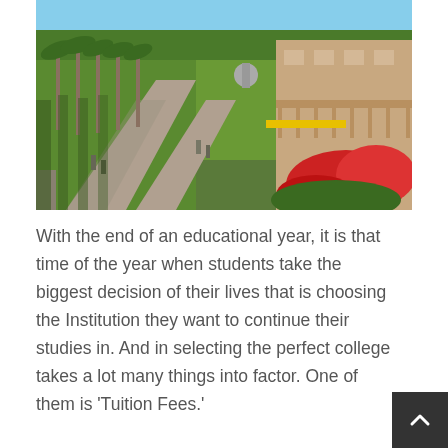[Figure (photo): Aerial/elevated view of a university campus showing a wide pedestrian walkway flanked by palm trees and green lawns, with students walking along paths. A multi-story brick building with a balcony is visible on the right side, surrounded by red flowering plants. The scene is sunny with clear skies.]
With the end of an educational year, it is that time of the year when students take the biggest decision of their lives that is choosing the Institution they want to continue their studies in. And in selecting the perfect college takes a lot many things into factor. One of them is 'Tuition Fees.'